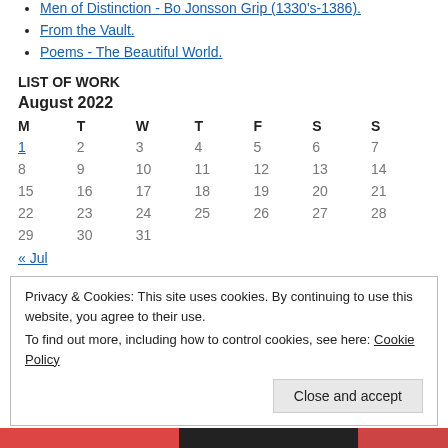Men of Distinction - Bo Jonsson Grip (1330's-1386).
From the Vault.
Poems - The Beautiful World.
LIST OF WORK
August 2022
| M | T | W | T | F | S | S |
| --- | --- | --- | --- | --- | --- | --- |
| 1 | 2 | 3 | 4 | 5 | 6 | 7 |
| 8 | 9 | 10 | 11 | 12 | 13 | 14 |
| 15 | 16 | 17 | 18 | 19 | 20 | 21 |
| 22 | 23 | 24 | 25 | 26 | 27 | 28 |
| 29 | 30 | 31 |  |  |  |  |
« Jul
Privacy & Cookies: This site uses cookies. By continuing to use this website, you agree to their use. To find out more, including how to control cookies, see here: Cookie Policy
Close and accept